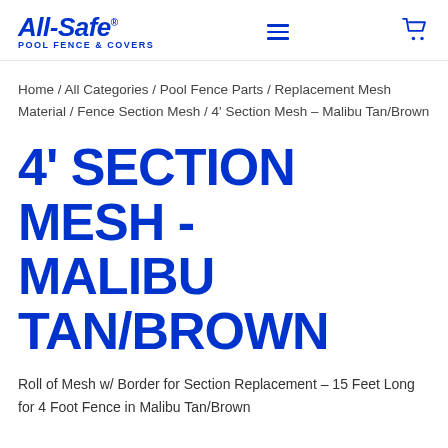All-Safe® POOL FENCE & COVERS
Home / All Categories / Pool Fence Parts / Replacement Mesh Material / Fence Section Mesh / 4' Section Mesh – Malibu Tan/Brown
4' SECTION MESH - MALIBU TAN/BROWN
Roll of Mesh w/ Border for Section Replacement – 15 Feet Long for 4 Foot Fence in Malibu Tan/Brown